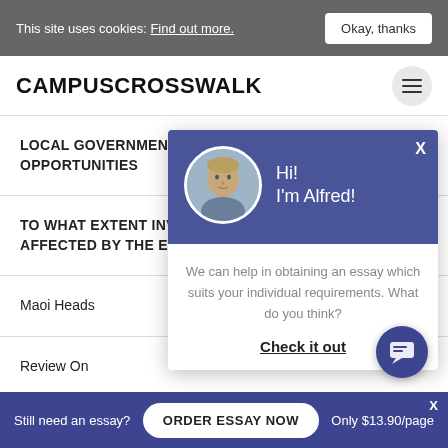This site uses cookies: Find out more. [Okay, thanks]
CAMPUSCROSSWALK
LOCAL GOVERNMENT OPPORTUNITIES
TO WHAT EXTENT INVE AFFECTED BY THE ELIT
Maoi Heads
Review On
[Figure (screenshot): Chat popup with avatar photo of a man, greeting 'Hi! I'm Alfred!', text 'We can help in obtaining an essay which suits your individual requirements. What do you think?' and a 'Check it out' link]
Still need an essay? ORDER ESSAY NOW Only $13.90/page